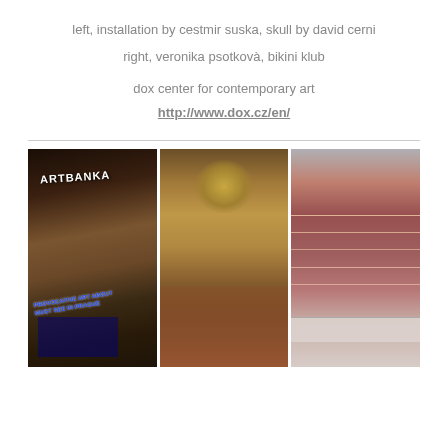left, installation by cestmir suska, skull by david cerni
right, veronika psotkovà, bikini klub
dox center for contemporary art
http://www.dox.cz/en/
[Figure (photo): Three side-by-side photographs: left shows Artbanka gallery entrance with posters; center shows ornate baroque church interior with chandelier and costumed figures; right shows an empty room with wooden plank wall installation.]